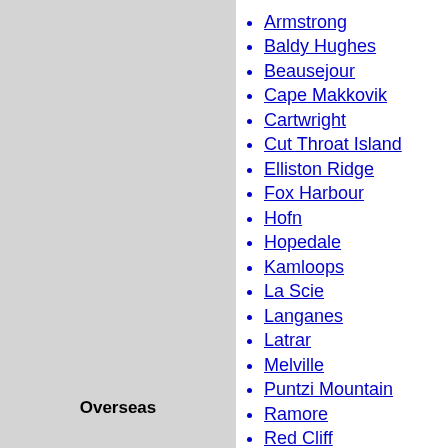Overseas
Zapata
Armstrong
Baldy Hughes
Beausejour
Cape Makkovik
Cartwright
Cut Throat Island
Elliston Ridge
Fox Harbour
Hofn
Hopedale
Kamloops
La Scie
Langanes
Latrar
Melville
Puntzi Mountain
Ramore
Red Cliff